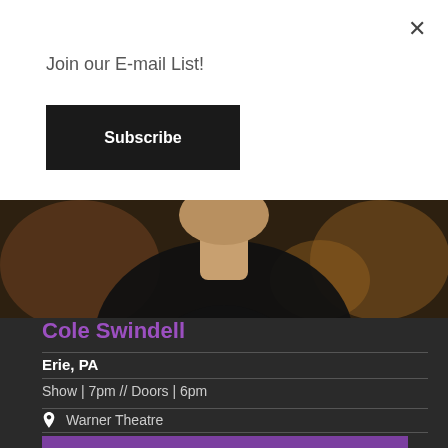×
Join our E-mail List!
Subscribe
[Figure (photo): Photo of Cole Swindell wearing a black shirt, blurred warm background. Purple banner overlay reads THURS, OCT 20]
Cole Swindell
Erie, PA
Show | 7pm // Doors | 6pm
Warner Theatre
Buy Tickets